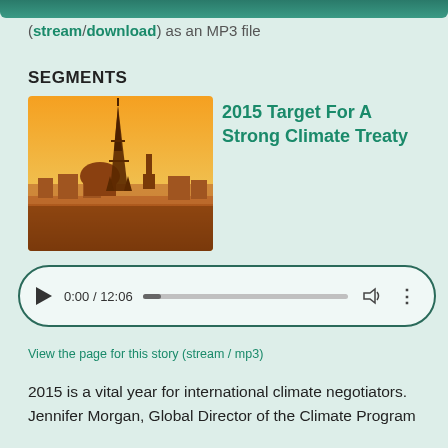(stream/download) as an MP3 file
SEGMENTS
[Figure (photo): Aerial photo of Paris skyline at golden hour with Eiffel Tower prominently visible]
2015 Target For A Strong Climate Treaty
[Figure (screenshot): Audio player showing 0:00 / 12:06 with play button, progress bar, volume and more icons]
View the page for this story (stream / mp3)
2015 is a vital year for international climate negotiators. Jennifer Morgan, Global Director of the Climate Program